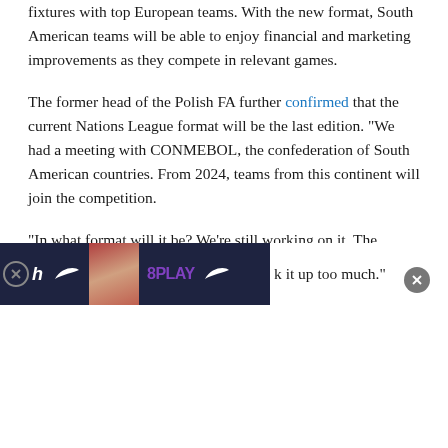fixtures with top European teams. With the new format, South American teams will be able to enjoy financial and marketing improvements as they compete in relevant games.
The former head of the Polish FA further confirmed that the current Nations League format will be the last edition. “We had a meeting with CONMEBOL, the confederation of South American countries. From 2024, teams from this continent will join the competition.
“In what format will it be? We’re still working on it. The schedule of matches for the national teams is [cropped] it up too much.”
[Figure (screenshot): Advertisement banner overlay with dark navy background showing a channel logo 'h', Nike swoosh, a person photo, 'BPLAY' logo in purple, and another Nike swoosh. A close button (X in circle) appears on the left side and another close button on the right.]